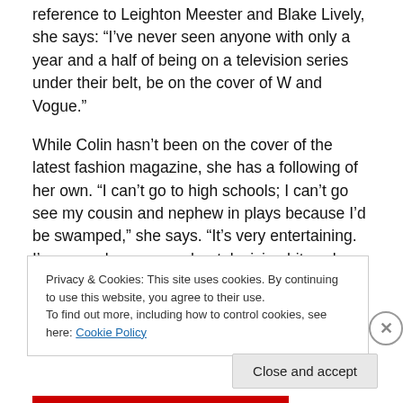reference to Leighton Meester and Blake Lively, she says: “I’ve never seen anyone with only a year and a half of being on a television series under their belt, be on the cover of W and Vogue.”
While Colin hasn’t been on the cover of the latest fashion magazine, she has a following of her own. “I can’t go to high schools; I can’t go see my cousin and nephew in plays because I’d be swamped,” she says. “It’s very entertaining. I’ve never been on such a television hit such as this and certainly not for this demographic.”
Privacy & Cookies: This site uses cookies. By continuing to use this website, you agree to their use.
To find out more, including how to control cookies, see here: Cookie Policy